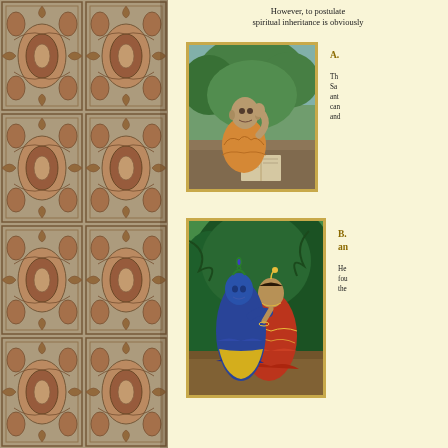[Figure (illustration): Decorative carpet/rug pattern repeated vertically on the left side of the page]
However, to postulate spiritual inheritance is obviously
[Figure (photo): Photograph of a Hindu swami/monk in orange robes seated outdoors with an open book]
A.
Th
Sa
ant
can
and
[Figure (illustration): Illustration of Krishna and Radha in an intimate embrace in a forest setting]
B. an
He
fou
the